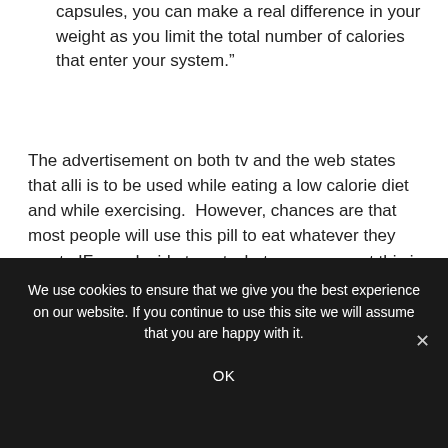capsules, you can make a real difference in your weight as you limit the total number of calories that enter your system."
The advertisement on both tv and the web states that alli is to be used while eating a low calorie diet and while exercising.  However, chances are that most people will use this pill to eat whatever they want.  IF you decide to eat whatever you want this is what will happen....
“What are treatment
We use cookies to ensure that we give you the best experience on our website. If you continue to use this site we will assume that you are happy with it.

OK